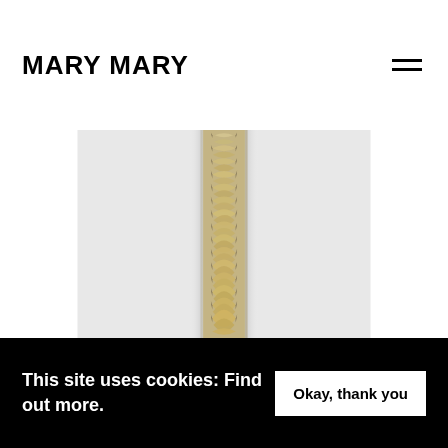MARY MARY
[Figure (photo): Artwork photograph showing a vertical sculptural piece with layered, wave-like textured material in beige/tan tones running down the center between two white panels, mounted on a white wall.]
This site uses cookies: Find out more.
Okay, thank you